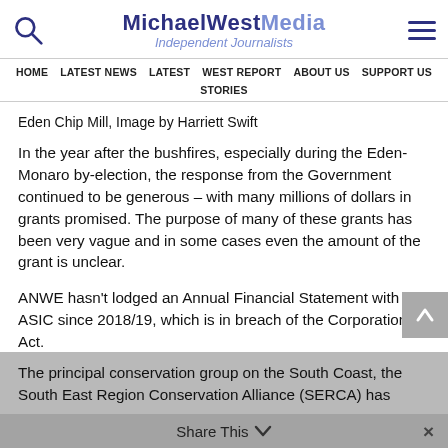MichaelWest Media Independent Journalists
HOME  LATEST NEWS  LATEST  WEST REPORT  ABOUT US  SUPPORT US  STORIES
Eden Chip Mill, Image by Harriett Swift
In the year after the bushfires, especially during the Eden-Monaro by-election, the response from the Government continued to be generous – with many millions of dollars in grants promised. The purpose of many of these grants has been very vague and in some cases even the amount of the grant is unclear.
ANWE hasn't lodged an Annual Financial Statement with ASIC since 2018/19, which is in breach of the Corporations Act.
The principal conservation group on the South Coast, the South East Region Conservation Alliance (SERCA) has